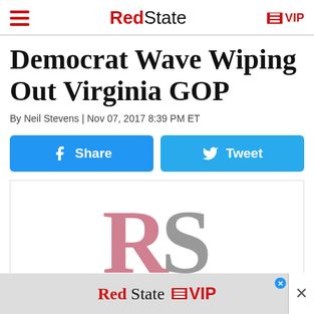RedState | VIP
Democrat Wave Wiping Out Virginia GOP
By Neil Stevens | Nov 07, 2017 8:39 PM ET
[Figure (other): Facebook Share button and Twitter Tweet button]
[Figure (logo): RedState RS logo placeholder image]
[Figure (logo): RedState VIP advertisement banner at bottom]